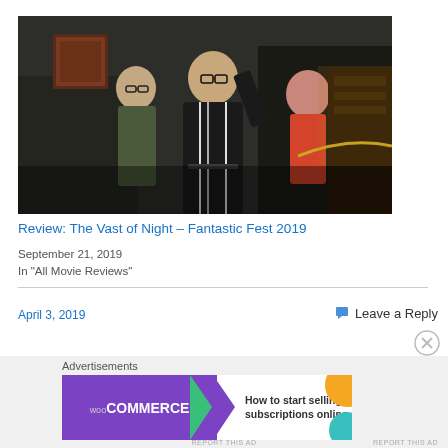[Figure (photo): Still from 'The Vast of Night' showing three people in a dark indoor setting, one man in a black zip-up jacket with stripes in the foreground, two others behind him.]
Review: The Vast of Night – Fantastic Fest 2019
September 21, 2019
In "All Movie Reviews"
April 3, 2019
Leave a Reply
Advertisements
[Figure (screenshot): WooCommerce advertisement banner: purple left panel with WooCommerce logo and green arrow, white right panel with text 'How to start selling subscriptions online', orange and teal decorative shapes on right.]